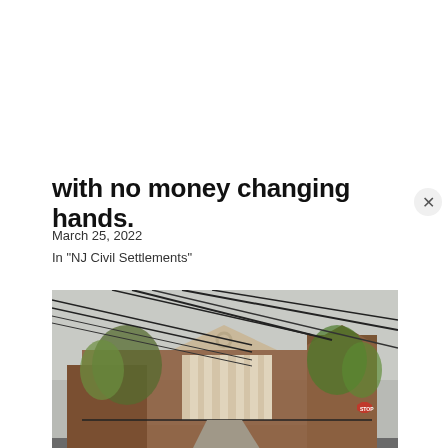with no money changing hands.
March 25, 2022
In "NJ Civil Settlements"
[Figure (photo): Exterior photo of Lebanon Borough School District building, a red brick structure with white columned entrance, trees, power lines overhead, and a street intersection in the foreground.]
Lebanon Borough School District quietly paid $235,000 to settle former employee's wrongful termination lawsuit